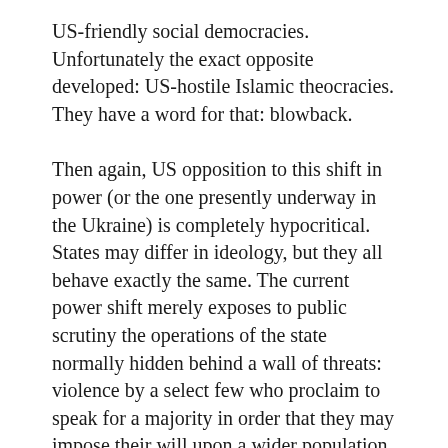US-friendly social democracies. Unfortunately the exact opposite developed: US-hostile Islamic theocracies. They have a word for that: blowback.
Then again, US opposition to this shift in power (or the one presently underway in the Ukraine) is completely hypocritical. States may differ in ideology, but they all behave exactly the same. The current power shift merely exposes to public scrutiny the operations of the state normally hidden behind a wall of threats: violence by a select few who proclaim to speak for a majority in order that they may impose their will upon a wider population circumscribed by an arbitrary geopolitical boundary.
In fact nothing is really changing in any of these regions. The flags, slogans and draperies of the capital building may change, but the core violation of the right of the individual to live their life as they, and not others, see fit remains. So even though we may personally object to the precepts of Sharia